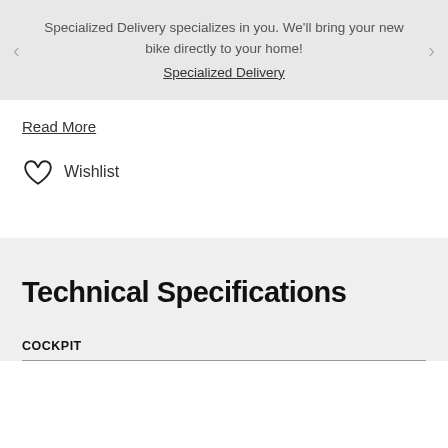Specialized Delivery specializes in you. We'll bring your new bike directly to your home! Specialized Delivery
Read More
Wishlist
Technical Specifications
COCKPIT